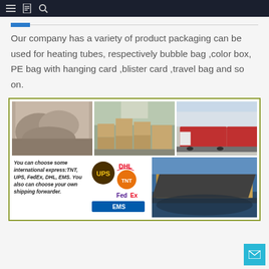navigation bar with menu, bookmark, and search icons
Our company has a variety of product packaging can be used for heating tubes, respectively bubble bag ,color box, PE bag with hanging card ,blister card ,travel bag and so on.
[Figure (photo): Composite image showing packaging products, warehouse with stacked boxes, red trucks at warehouse exterior, courier service logos (UPS, DHL, TNT, FedEx, EMS), and cargo ship. Text reads: You can choose some international express:TNT, UPS, FedEx, DHL, EMS. You also can choose your own shipping forwarder.]